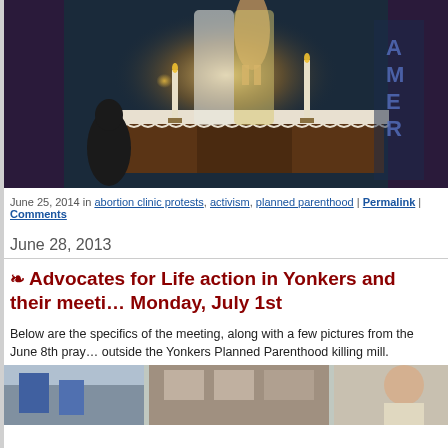[Figure (photo): Painting of a robed figure kneeling before an ornate altar with candles and a glowing religious image, dark dramatic tones]
June 25, 2014 in abortion clinic protests, activism, planned parenthood | Permalink | Comments
June 28, 2013
❧ Advocates for Life action in Yonkers and their meeting Monday, July 1st
Below are the specifics of the meeting, along with a few pictures from the June 8th prayer vigil outside the Yonkers Planned Parenthood killing mill.
[Figure (photo): Street scene with protest signs outside a building, partially visible at bottom of page]